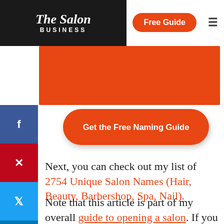The Salon Business | Free Guide
[Figure (illustration): Orange banner image at top of article]
[Figure (other): Get the Free Naming Guide orange CTA button]
Next, you can check out my list of 2754 Unique Salon Names (Hair, Beauty, Barbershop, Spa, Nail).
Note that this article is part of my overall guide to opening a salon. If you haven't check it out already, I strongly